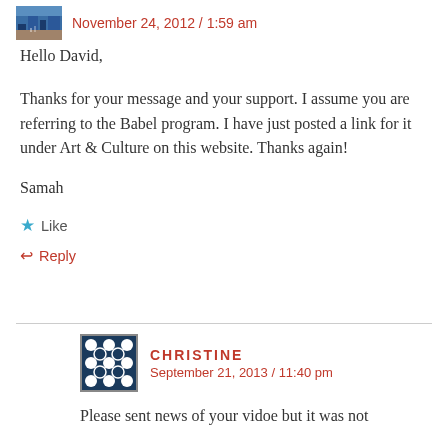November 24, 2012 / 1:59 am
Hello David,
Thanks for your message and your support. I assume you are referring to the Babel program. I have just posted a link for it under Art & Culture on this website. Thanks again!
Samah
★ Like
↩ Reply
CHRISTINE
September 21, 2013 / 11:40 pm
Please sent news of your vidoe but it was not